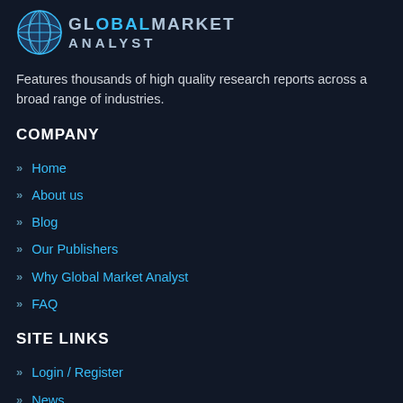[Figure (logo): Global Market Analyst logo with globe icon and stylized text]
Features thousands of high quality research reports across a broad range of industries.
COMPANY
Home
About us
Blog
Our Publishers
Why Global Market Analyst
FAQ
SITE LINKS
Login / Register
News
RSS